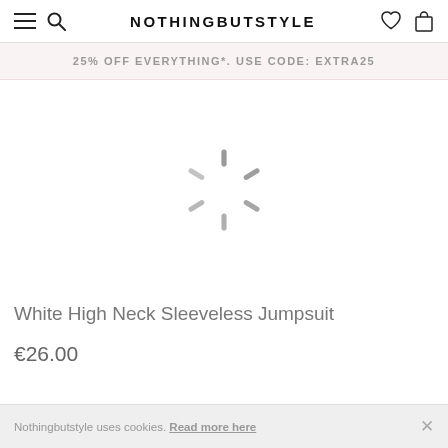NOTHINGBUTSTYLE
25% OFF EVERYTHING*. USE CODE: EXTRA25
[Figure (other): Loading spinner (circular progress indicator) overlaid on a product image area]
White High Neck Sleeveless Jumpsuit
€26.00
Nothingbutstyle uses cookies. Read more here